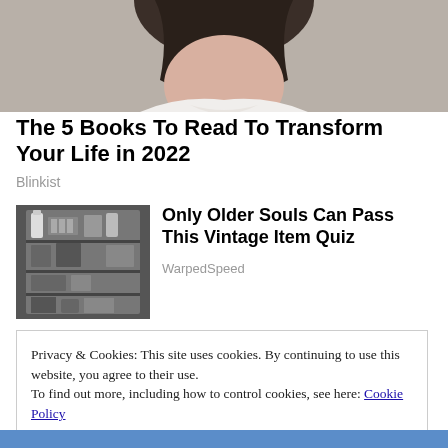[Figure (photo): Cropped photo of a person with dark hair wearing a white garment, shown from shoulders up, partially visible]
The 5 Books To Read To Transform Your Life in 2022
Blinkist
[Figure (photo): Black and white photo of an open vintage refrigerator stocked with bottles, trays, and food items]
Only Older Souls Can Pass This Vintage Item Quiz
WarpedSpeed
Privacy & Cookies: This site uses cookies. By continuing to use this website, you agree to their use.
To find out more, including how to control cookies, see here: Cookie Policy
Close and accept